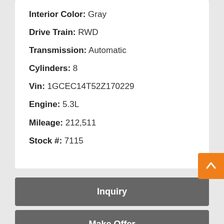Interior Color: Gray
Drive Train: RWD
Transmission: Automatic
Cylinders: 8
Vin: 1GCEC14T52Z170229
Engine: 5.3L
Mileage: 212,511
Stock #: 7115
Inquiry
Make Offer
Text Us